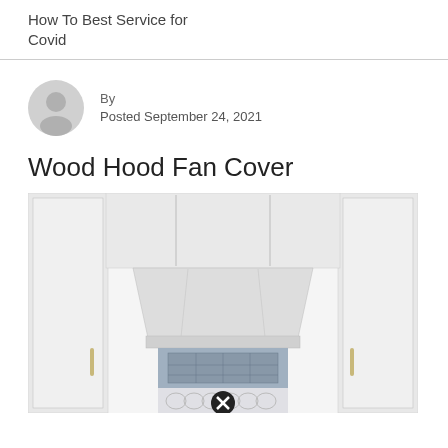How To Best Service for Covid
[Figure (illustration): Gray user avatar/profile silhouette icon in a circle]
By
Posted September 24, 2021
Wood Hood Fan Cover
[Figure (photo): White wood range hood fan cover installed in a kitchen, showing the decorative wooden surround lifted up to reveal the fan interior. Cabinets visible on either side with gold/brass handles. Scallop tile backsplash visible below. A close button (X in circle) overlaid at bottom center.]